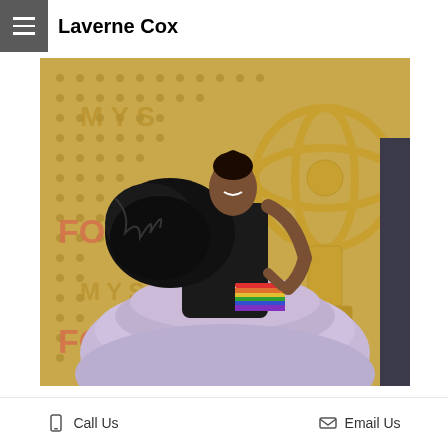Laverne Cox
[Figure (photo): Laverne Cox posing at the Emmy Awards red carpet, wearing a black one-shoulder top with feathered detail and a lavender ruffled skirt, holding a rainbow clutch, with the Emmys gold backdrop visible behind her.]
Call Us   Email Us